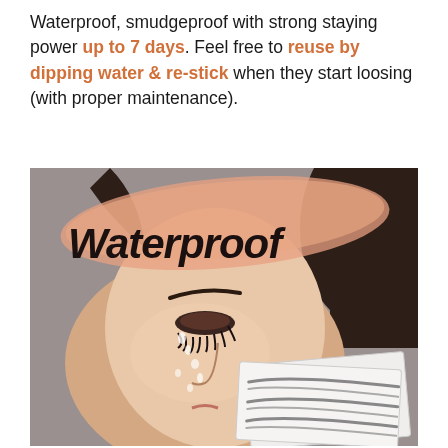Waterproof, smudgeproof with strong staying power up to 7 days. Feel free to reuse by dipping water & re-stick when they start loosing (with proper maintenance).
[Figure (photo): Photo of a woman's face with water droplets on skin, overlaid with a peach/salmon brush stroke and the word 'Waterproof' in bold italic script. In the bottom right corner, two white eyebrow sticker sheets are shown with printed eyebrow patterns.]